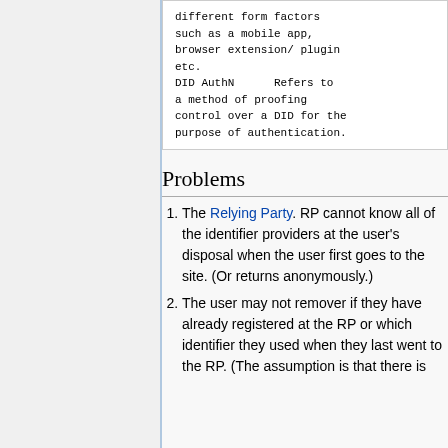different form factors such as a mobile app, browser extension/ plugin etc.
DID AuthN     Refers to a method of proofing control over a DID for the purpose of authentication.
Problems
The Relying Party. RP cannot know all of the identifier providers at the user's disposal when the user first goes to the site. (Or returns anonymously.)
The user may not remover if they have already registered at the RP or which identifier they used when they last went to the RP. (The assumption is that there is